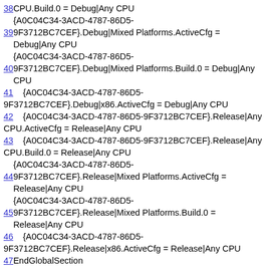38 CPU.Build.0 = Debug|Any CPU
    {A0C04C34-3ACD-4787-86D5-
399F3712BC7CEF}.Debug|Mixed Platforms.ActiveCfg = Debug|Any CPU
    {A0C04C34-3ACD-4787-86D5-
409F3712BC7CEF}.Debug|Mixed Platforms.Build.0 = Debug|Any CPU
41  {A0C04C34-3ACD-4787-86D5-9F3712BC7CEF}.Debug|x86.ActiveCfg = Debug|Any CPU
42  {A0C04C34-3ACD-4787-86D5-9F3712BC7CEF}.Release|Any CPU.ActiveCfg = Release|Any CPU
43  {A0C04C34-3ACD-4787-86D5-9F3712BC7CEF}.Release|Any CPU.Build.0 = Release|Any CPU
    {A0C04C34-3ACD-4787-86D5-
449F3712BC7CEF}.Release|Mixed Platforms.ActiveCfg = Release|Any CPU
    {A0C04C34-3ACD-4787-86D5-
459F3712BC7CEF}.Release|Mixed Platforms.Build.0 = Release|Any CPU
46  {A0C04C34-3ACD-4787-86D5-9F3712BC7CEF}.Release|x86.ActiveCfg = Release|Any CPU
47 EndGlobalSection
48 GlobalSection(SolutionProperties) = preSolution
49 HideSolutionNode = FALSE
50 EndGlobalSection